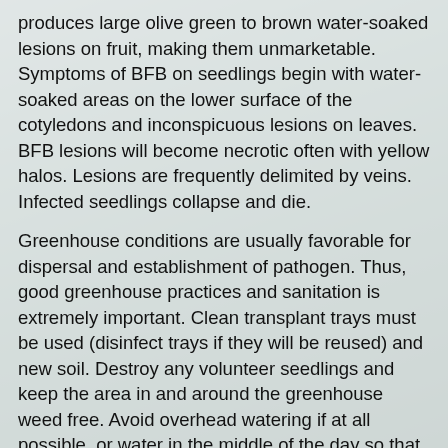produces large olive green to brown water-soaked lesions on fruit, making them unmarketable. Symptoms of BFB on seedlings begin with water-soaked areas on the lower surface of the cotyledons and inconspicuous lesions on leaves. BFB lesions will become necrotic often with yellow halos. Lesions are frequently delimited by veins. Infected seedlings collapse and die.
Greenhouse conditions are usually favorable for dispersal and establishment of pathogen. Thus, good greenhouse practices and sanitation is extremely important. Clean transplant trays must be used (disinfect trays if they will be reused) and new soil. Destroy any volunteer seedlings and keep the area in and around the greenhouse weed free. Avoid overhead watering if at all possible, or water in the middle of the day so that the plants dry thoroughly before evening. The bacterium can spread on mist and aerosols. Relative humidity should be kept low through proper watering and good air circulation in the